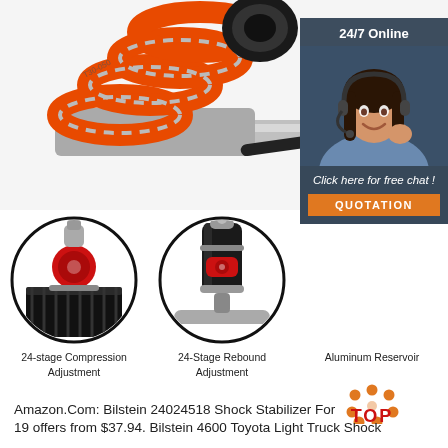[Figure (photo): Close-up product photo of a red coilover shock absorber with orange/red spring coils and black shock body on white background]
[Figure (infographic): 24/7 Online customer service overlay with agent photo and 'Click here for free chat! QUOTATION' button on dark blue-grey background]
[Figure (photo): Circular close-up of compression adjustment knob on shock absorber]
24-stage Compression Adjustment
[Figure (photo): Circular close-up of rebound adjustment mechanism on shock absorber]
24-Stage Rebound Adjustment
Aluminum Reservoir
[Figure (logo): TOP logo with orange dots arranged in flower/gear pattern and red TOP text]
Amazon.Com: Bilstein 24024518 Shock Stabilizer For
19 offers from $37.94. Bilstein 4600 Toyota Light Truck Shock